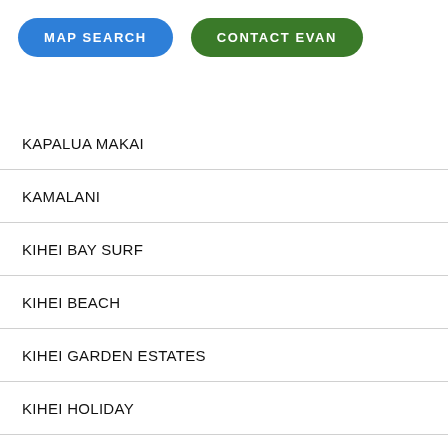[Figure (other): Blue pill-shaped button labeled MAP SEARCH]
[Figure (other): Green pill-shaped button labeled CONTACT EVAN]
KAPALUA MAKAI
KAMALANI
KIHEI BAY SURF
KIHEI BEACH
KIHEI GARDEN ESTATES
KIHEI HOLIDAY
KIHEI RESORT